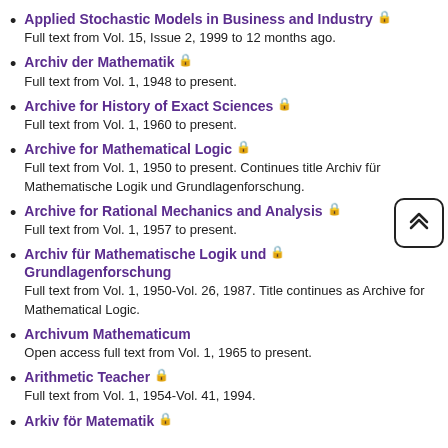Applied Stochastic Models in Business and Industry
Full text from Vol. 15, Issue 2, 1999 to 12 months ago.
Archiv der Mathematik
Full text from Vol. 1, 1948 to present.
Archive for History of Exact Sciences
Full text from Vol. 1, 1960 to present.
Archive for Mathematical Logic
Full text from Vol. 1, 1950 to present. Continues title Archiv für Mathematische Logik und Grundlagenforschung.
Archive for Rational Mechanics and Analysis
Full text from Vol. 1, 1957 to present.
Archiv für Mathematische Logik und Grundlagenforschung
Full text from Vol. 1, 1950-Vol. 26, 1987. Title continues as Archive for Mathematical Logic.
Archivum Mathematicum
Open access full text from Vol. 1, 1965 to present.
Arithmetic Teacher
Full text from Vol. 1, 1954-Vol. 41, 1994.
Arkiv för Matematik